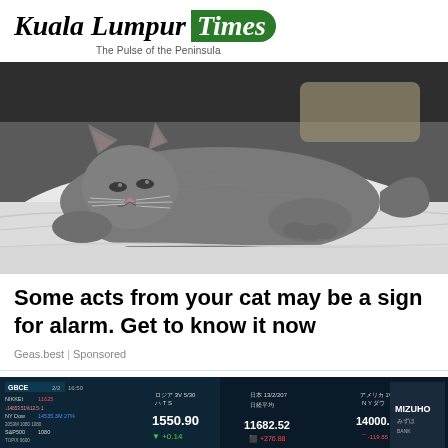Kuala Lumpur Times — The Pulse of the Peninsula
[Figure (photo): A gray cat lying on its side on a white bed, resting lazily with eyes half open]
Some acts from your cat may be a sign for alarm. Get to know it now
Geas.best | Sponsored
[Figure (photo): Stock market ticker board showing financial data including GBCE, NIKKEI, Dow Jones figures with numbers like 1550.90, +0.14, 11682.52, 14000.57, and MIZUHO branding]